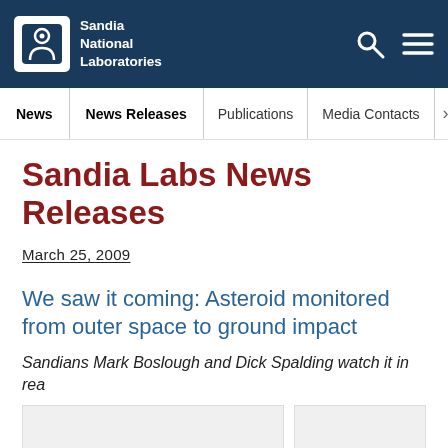Sandia National Laboratories
News | News Releases | Publications | Media Contacts
Sandia Labs News Releases
March 25, 2009
We saw it coming: Asteroid monitored from outer space to ground impact
Sandians Mark Boslough and Dick Spalding watch it in rea
[Figure (photo): Image placeholder area showing article thumbnail photos]